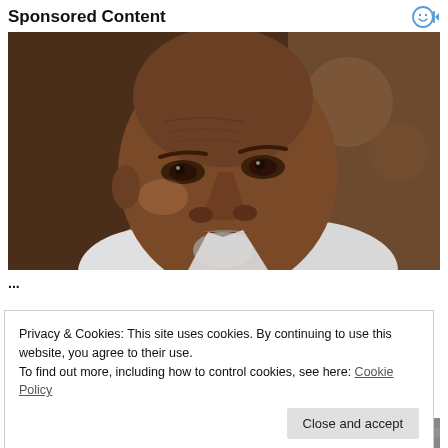Sponsored Content
[Figure (photo): Close-up portrait of an older Black man with a shaved head and grey goatee, wearing a white shirt, looking to the side with a serious expression. Dark blurred background.]
...truncated title text...
Privacy & Cookies: This site uses cookies. By continuing to use this website, you agree to their use.
To find out more, including how to control cookies, see here: Cookie Policy
Close and accept
[Figure (photo): Partial bottom image, mostly obscured by cookie banner.]